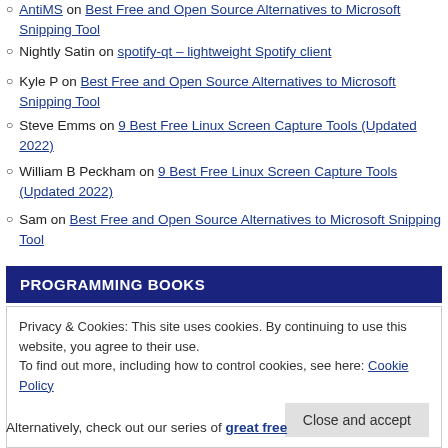AntiMS on Best Free and Open Source Alternatives to Microsoft Snipping Tool
Nightly Satin on spotify-qt – lightweight Spotify client
Kyle P on Best Free and Open Source Alternatives to Microsoft Snipping Tool
Steve Emms on 9 Best Free Linux Screen Capture Tools (Updated 2022)
William B Peckham on 9 Best Free Linux Screen Capture Tools (Updated 2022)
Sam on Best Free and Open Source Alternatives to Microsoft Snipping Tool
PROGRAMMING BOOKS
Privacy & Cookies: This site uses cookies. By continuing to use this website, you agree to their use.
To find out more, including how to control cookies, see here: Cookie Policy
Alternatively, check out our series of great free